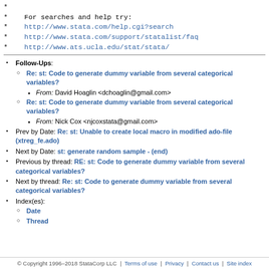* For searches and help try:
* http://www.stata.com/help.cgi?search
* http://www.stata.com/support/statalist/faq
* http://www.ats.ucla.edu/stat/stata/
Follow-Ups:
Re: st: Code to generate dummy variable from several categorical variables?
From: David Hoaglin <dchoaglin@gmail.com>
Re: st: Code to generate dummy variable from several categorical variables?
From: Nick Cox <njcoxstata@gmail.com>
Prev by Date: Re: st: Unable to create local macro in modified ado-file (xtreg_fe.ado)
Next by Date: st: generate random sample - (end)
Previous by thread: RE: st: Code to generate dummy variable from several categorical variables?
Next by thread: Re: st: Code to generate dummy variable from several categorical variables?
Index(es):
Date
Thread
© Copyright 1996–2018 StataCorp LLC | Terms of use | Privacy | Contact us | Site index